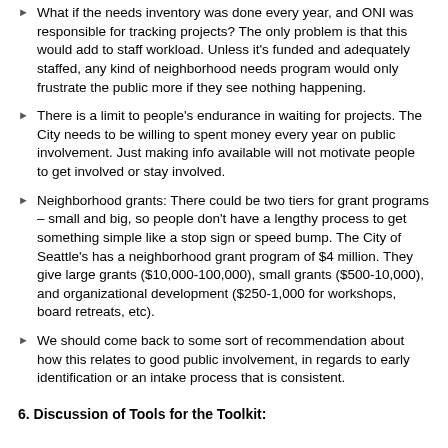What if the needs inventory was done every year, and ONI was responsible for tracking projects?  The only problem is that this would add to staff workload.  Unless it's funded and adequately staffed, any kind of neighborhood needs program would only frustrate the public more if they see nothing happening.
There is a limit to people's endurance in waiting for projects.  The City needs to be willing to spent money every year on public involvement.  Just making info available will not motivate people to get involved or stay involved.
Neighborhood grants: There could be two tiers for grant programs – small and big, so people don't have a lengthy process to get something simple like a stop sign or speed bump.  The City of Seattle's has a neighborhood grant program of $4 million.  They give large grants ($10,000-100,000), small grants ($500-10,000), and organizational development ($250-1,000 for workshops, board retreats, etc).
We should come back to some sort of recommendation about how this relates to good public involvement, in regards to early identification or an intake process that is consistent.
6.  Discussion of Tools for the Toolkit: